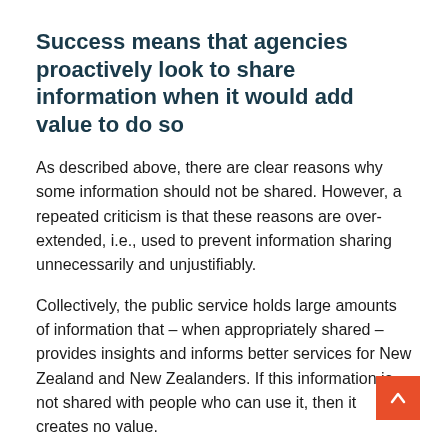Success means that agencies proactively look to share information when it would add value to do so
As described above, there are clear reasons why some information should not be shared. However, a repeated criticism is that these reasons are over-extended, i.e., used to prevent information sharing unnecessarily and unjustifiably.
Collectively, the public service holds large amounts of information that – when appropriately shared – provides insights and informs better services for New Zealand and New Zealanders. If this information is not shared with people who can use it, then it creates no value.